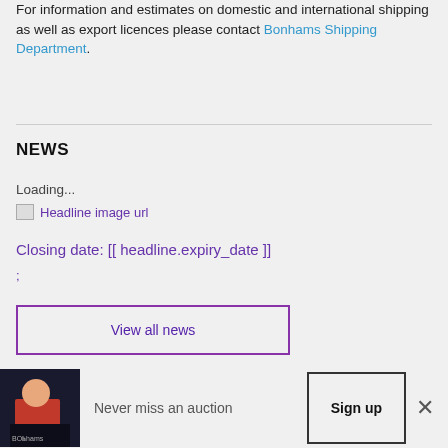For information and estimates on domestic and international shipping as well as export licences please contact Bonhams Shipping Department.
NEWS
Loading...
[Figure (other): Broken image placeholder with link text 'Headline image url']
Closing date: [[ headline.expiry_date ]]
;
View all news
Never miss an auction
[Figure (photo): Photo of a woman in a pink top gesturing at an auction podium with Bonhams branding visible]
Sign up
×